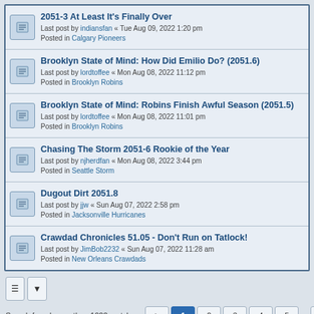2051-3 At Least It's Finally Over — Last post by indiansfan « Tue Aug 09, 2022 1:20 pm — Posted in Calgary Pioneers
Brooklyn State of Mind: How Did Emilio Do? (2051.6) — Last post by lordtoffee « Mon Aug 08, 2022 11:12 pm — Posted in Brooklyn Robins
Brooklyn State of Mind: Robins Finish Awful Season (2051.5) — Last post by lordtoffee « Mon Aug 08, 2022 11:01 pm — Posted in Brooklyn Robins
Chasing The Storm 2051-6 Rookie of the Year — Last post by njherdfan « Mon Aug 08, 2022 3:44 pm — Posted in Seattle Storm
Dugout Dirt 2051.8 — Last post by jjw « Sun Aug 07, 2022 2:58 pm — Posted in Jacksonville Hurricanes
Crawdad Chronicles 51.05 - Don't Run on Tatlock! — Last post by JimBob2232 « Sun Aug 07, 2022 11:28 am — Posted in New Orleans Crawdads
Search found more than 1000 matches
Pagination: 1 2 3 4 5 ... 40
Home · BBA Forums   Contact us   The team   Powered by phpBB® Forum Software © phpBB Limited | SE Square Left by PhpBB3 BBCodes